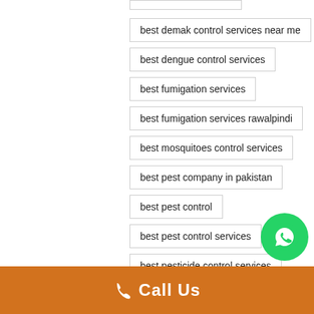best demak control services near me
best dengue control services
best fumigation services
best fumigation services rawalpindi
best mosquitoes control services
best pest company in pakistan
best pest control
best pest control services
best pesticide control services (partial)
Call Us